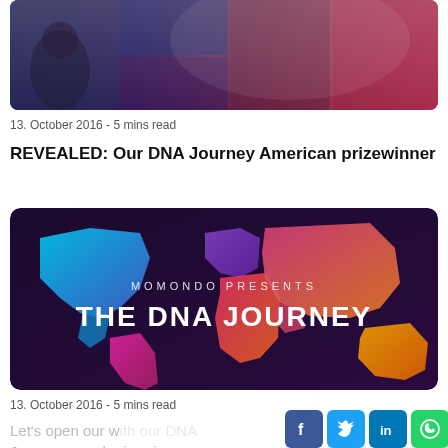[Figure (photo): Top banner image showing a collage of people traveling, with dark blue and red gradient overlays]
13. October 2016  -  5 mins read
REVEALED: Our DNA Journey American prizewinner
[Figure (illustration): Momondo DNA Journey promotional image showing a colorful world map with countries in cyan, blue, purple, pink, red, orange, magenta, and gold colors on a dark purple background. Text reads 'MOMONDO PRESENTS THE DNA JOURNEY']
13. October 2016  -  5 mins read
Let's open our world with our DNA Journey grand prizewinner